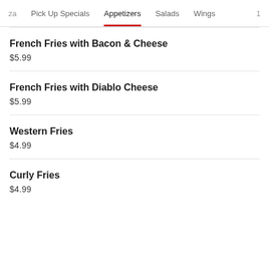za  Pick Up Specials  Appetizers  Salads  Wings  1
French Fries with Bacon & Cheese
$5.99
French Fries with Diablo Cheese
$5.99
Western Fries
$4.99
Curly Fries
$4.99